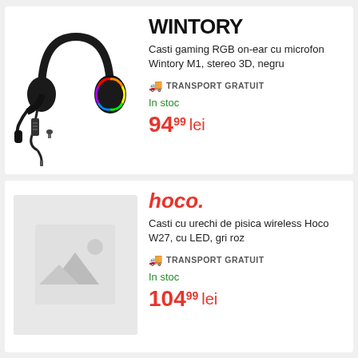[Figure (photo): Black RGB gaming headset with microphone and inline controller, Wintory M1]
WINTORY
Casti gaming RGB on-ear cu microfon Wintory M1, stereo 3D, negru
🚚 TRANSPORT GRATUIT
In stoc
94.99 lei
[Figure (photo): Placeholder image for Hoco W27 headphones]
hoco.
Casti cu urechi de pisica wireless Hoco W27, cu LED, gri roz
🚚 TRANSPORT GRATUIT
In stoc
104.99 lei